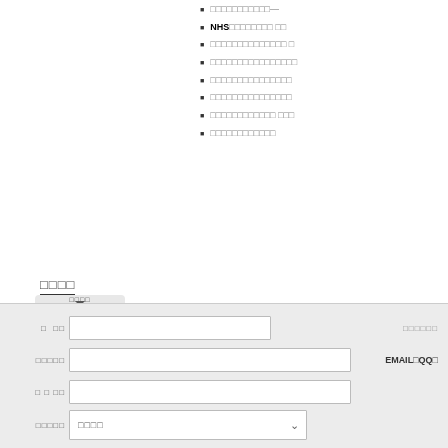□□□□□□□□□□□—
NHS□□□□□□□□ □□
□□□□□□□□□□□□□□ □
□□□□□□□□□□□□□□□□
□□□□□□□□□□□□□□□
□□□□□□□□□□□□□□□
□□□□□□□□□□□□ □□□
□□□□□□□□□□□□
□□□□
[Figure (screenshot): Web form with input fields for name, address, and dropdown selection, with labels in Chinese/Japanese characters and EMAIL/QQ labels on the right side]